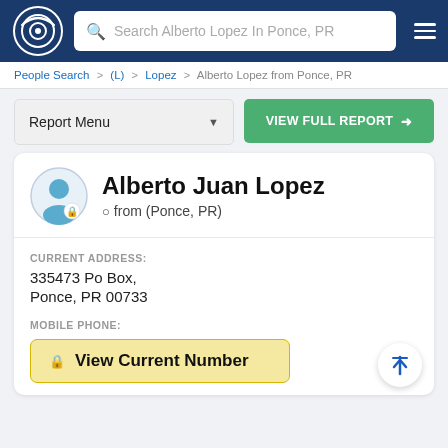Search Alberto Lopez In Ponce, PR
People Search > (L) > Lopez > Alberto Lopez from Ponce, PR
Report Menu
VIEW FULL REPORT
Alberto Juan Lopez
from (Ponce, PR)
CURRENT ADDRESS:
335473 Po Box,
Ponce, PR 00733
MOBILE PHONE:
View Current Number